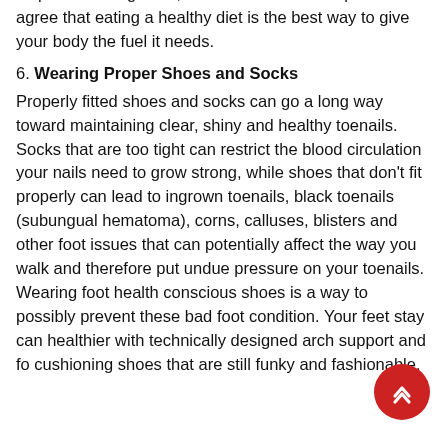help boost nail growth, but most doctors and podiatrists agree that eating a healthy diet is the best way to give your body the fuel it needs.
6. Wearing Proper Shoes and Socks
Properly fitted shoes and socks can go a long way toward maintaining clear, shiny and healthy toenails. Socks that are too tight can restrict the blood circulation your nails need to grow strong, while shoes that don't fit properly can lead to ingrown toenails, black toenails (subungual hematoma), corns, calluses, blisters and other foot issues that can potentially affect the way you walk and therefore put undue pressure on your toenails. Wearing foot health conscious shoes is a way to possibly prevent these bad foot condition. Your feet stay can healthier with technically designed arch support and fo cushioning shoes that are still funky and fashionable.